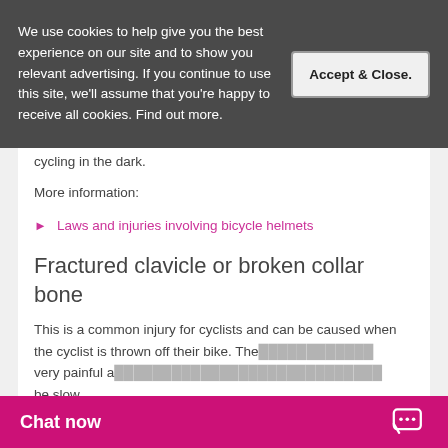We use cookies to help give you the best experience on our site and to show you relevant advertising. If you continue to use this site, we'll assume that you're happy to receive all cookies. Find out more.
Accept & Close.
cycling in the dark.
More information:
Laws and injuries involving bicycle helmets
Fractured clavicle or broken collar bone
This is a common injury for cyclists and can be caused when the cyclist is thrown off their bike. The very painful a be slow.
Chat now